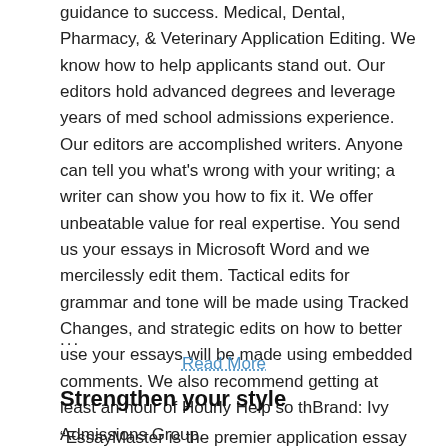guidance to success. Medical, Dental, Pharmacy, & Veterinary Application Editing. We know how to help applicants stand out. Our editors hold advanced degrees and leverage years of med school admissions experience. Our editors are accomplished writers. Anyone can tell you what's wrong with your writing; a writer can show you how to fix it. We offer unbeatable value for real expertise. You send us your essays in Microsoft Word and we mercilessly edit them. Tactical edits for grammar and tone will be made using Tracked Changes, and strategic edits on how to better use your essays will be made using embedded comments. We also recommend getting at least an hour of Hourly Help so thBrand: Ivy Admissions Group.
...
Read More
Strengthen your style
“EssayMaster is the premier application essay editing service, with some of the most experienced editors in the business...